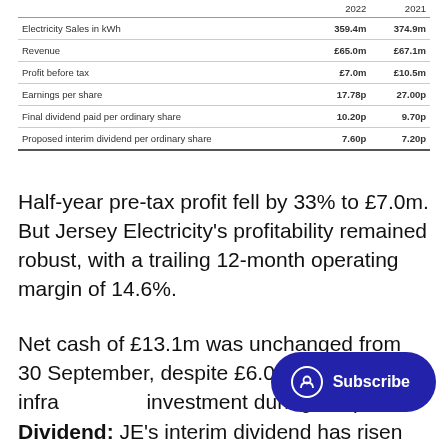|  | 2022 | 2021 |
| --- | --- | --- |
| Electricity Sales in kWh | 359.4m | 374.9m |
| Revenue | £65.0m | £67.1m |
| Profit before tax | £7.0m | £10.5m |
| Earnings per share | 17.78p | 27.00p |
| Final dividend paid per ordinary share | 10.20p | 9.70p |
| Proposed interim dividend per ordinary share | 7.60p | 7.20p |
Half-year pre-tax profit fell by 33% to £7.0m. But Jersey Electricity's profitability remained robust, with a trailing 12-month operating margin of 14.6%.
Net cash of £13.1m was unchanged from 30 September, despite £6.0m of infrastructure investment during the period.
Dividend: JE's interim dividend has risen by 5.6%...